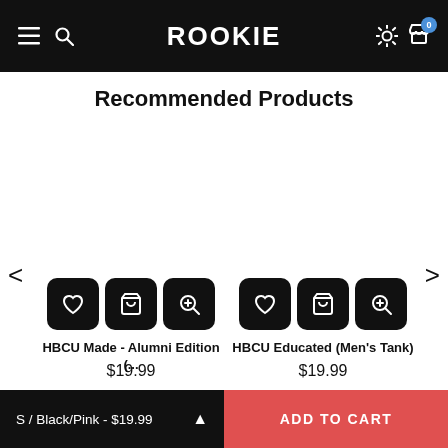ROOKIE
Recommended Products
[Figure (screenshot): Product card for HBCU Made - Alumni Edition with action buttons (heart, cart, zoom)]
HBCU Made - Alumni Edition (...
$19.99
[Figure (screenshot): Product card for HBCU Educated (Men's Tank) with action buttons (heart, cart, zoom)]
HBCU Educated (Men's Tank)
$19.99
S / Black/Pink - $19.99
ADD TO CART